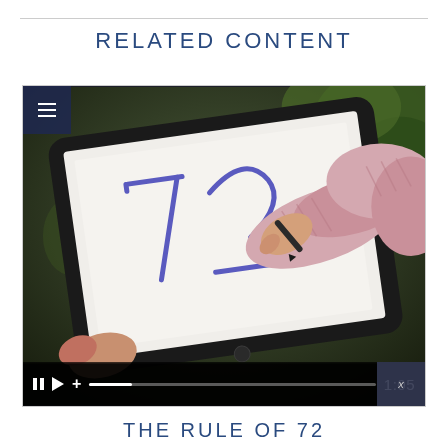RELATED CONTENT
[Figure (screenshot): Video player screenshot showing a person writing '72' on a tablet screen with a stylus, wearing a pink knit sweater. Video controls show pause, play, volume, progress bar and timestamp 1:05 at the bottom. A hamburger menu icon appears in the top-left corner.]
THE RULE OF 72